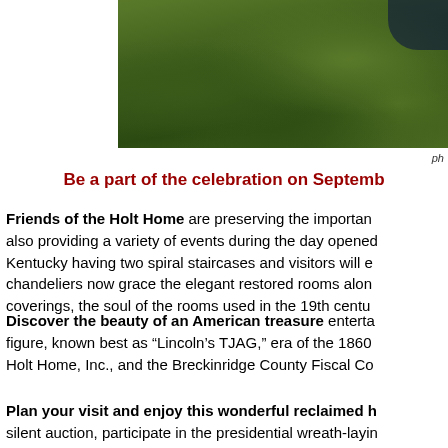[Figure (photo): Outdoor grass/lawn photograph, partially cropped at top of page, with dark element in upper right corner]
ph
Be a part of the celebration on September
Friends of the Holt Home are preserving the importan also providing a variety of events during the day opened Kentucky having two spiral staircases and visitors will e chandeliers now grace the elegant restored rooms alon coverings, the soul of the rooms used in the 19th centu
Discover the beauty of an American treasure enterta figure, known best as "Lincoln's TJAG," era of the 1860 Holt Home, Inc., and the Breckinridge County Fiscal Co
Plan your visit and enjoy this wonderful reclaimed h silent auction, participate in the presidential wreath-layin visit from Presidential biography is being planned